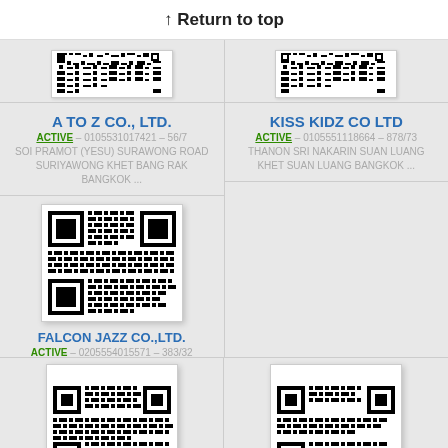↑ Return to top
A TO Z CO., LTD.
ACTIVE – 0105531017421 – 56/7 SOI PRAMOT (YESU) SURAWONG ROAD SURIYAWONG KHET BANG RAK BANGKOK ...
KISS KIDZ CO LTD
ACTIVE – 0105551118664 – 878/73 THANON SRI NAKARIN SUAN LUANG KHET SUAN LUANG BANGKOK ...
[Figure (other): QR code for FALCON JAZZ CO.,LTD.]
FALCON JAZZ CO.,LTD.
ACTIVE – 0205554015571 – 383/32 MU 10 NONG PUE BANG LAMUNG CHONBURI ...
[Figure (other): Partial QR code (bottom card left)]
[Figure (other): Partial QR code (bottom card right)]